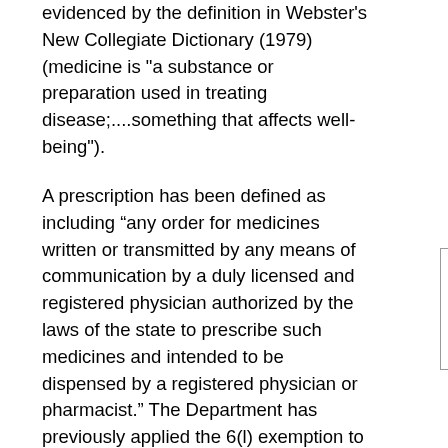evidenced by the definition in Webster's New Collegiate Dictionary (1979) (medicine is "a substance or preparation used in treating disease;....something that affects well-being").
A prescription has been defined as including “any order for medicines written or transmitted by any means of communication by a duly licensed and registered physician authorized by the laws of the state to prescribe such medicines and intended to be dispensed by a registered physician or pharmacist.” The Department has previously applied the 6(l) exemption to both medicines that are classified by law generically as "prescription medicines" (those which may be dispensed legally only by prescription); and medicines that are commonly regarded as "over-the-counter medicines" (those which may be dispensed legally without a prescription), but which